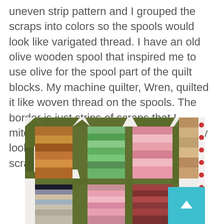uneven strip pattern and I grouped the scraps into colors so the spools would look like varigated thread. I have an old olive wooden spool that inspired me to use olive for the spool part of the quilt blocks. My machine quilter, Wren, quilted it like woven thread on the spools. The border is just strips of scraps that I mitered in the corners. I love the scrappy look and this one is probably one my scrappiest quilts. - nanette
[Figure (photo): Close-up photograph of a scrappy quilt with spool blocks. The quilt features olive green fabric for the spool shapes and a variety of colorful patterned fabric scraps (florals, stripes, dots) arranged in an uneven strip pattern inside each spool block. The background of the quilt blocks is white. A red-dotted border is partially visible on the right edge.]